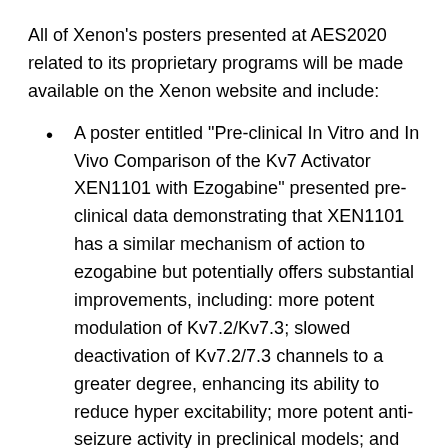All of Xenon's posters presented at AES2020 related to its proprietary programs will be made available on the Xenon website and include:
A poster entitled "Pre-clinical In Vitro and In Vivo Comparison of the Kv7 Activator XEN1101 with Ezogabine" presented pre-clinical data demonstrating that XEN1101 has a similar mechanism of action to ezogabine but potentially offers substantial improvements, including: more potent modulation of Kv7.2/Kv7.3; slowed deactivation of Kv7.2/7.3 channels to a greater degree, enhancing its ability to reduce hyper excitability; more potent anti-seizure activity in preclinical models; and no pigmented dimers